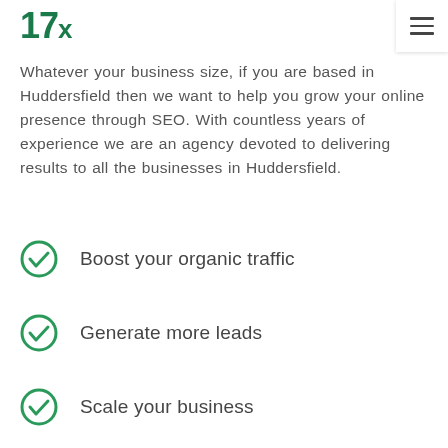17x
Whatever your business size, if you are based in Huddersfield then we want to help you grow your online presence through SEO. With countless years of experience we are an agency devoted to delivering results to all the businesses in Huddersfield.
Boost your organic traffic
Generate more leads
Scale your business